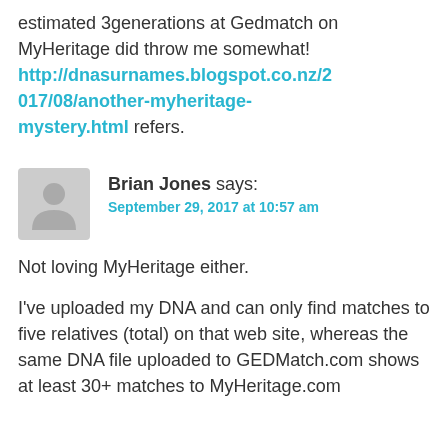estimated 3generations at Gedmatch on MyHeritage did throw me somewhat! http://dnasurnames.blogspot.co.nz/2017/08/another-myheritage-mystery.html refers.
Brian Jones says: September 29, 2017 at 10:57 am
Not loving MyHeritage either.
I've uploaded my DNA and can only find matches to five relatives (total) on that web site, whereas the same DNA file uploaded to GEDMatch.com shows at least 30+ matches to MyHeritage.com